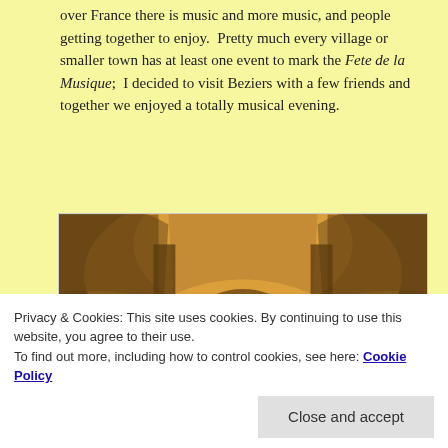over France there is music and more music, and people getting together to enjoy.  Pretty much every village or smaller town has at least one event to mark the Fete de la Musique;  I decided to visit Beziers with a few friends and together we enjoyed a totally musical evening.
[Figure (photo): Interior of a Romanesque church with stone arched vaults and warm golden-orange lighting illuminating the nave and apse]
Privacy & Cookies: This site uses cookies. By continuing to use this website, you agree to their use.
To find out more, including how to control cookies, see here: Cookie Policy